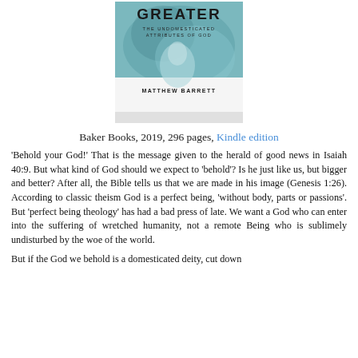[Figure (photo): Book cover of 'Greater: The Undomesticated Attributes of God' by Matthew Barrett, published by Baker Books]
Baker Books, 2019, 296 pages, Kindle edition
'Behold your God!' That is the message given to the herald of good news in Isaiah 40:9. But what kind of God should we expect to 'behold'? Is he just like us, but bigger and better? After all, the Bible tells us that we are made in his image (Genesis 1:26). According to classic theism God is a perfect being, 'without body, parts or passions'. But 'perfect being theology' has had a bad press of late. We want a God who can enter into the suffering of wretched humanity, not a remote Being who is sublimely undisturbed by the woe of the world.
But if the God we behold is a domesticated deity, cut down